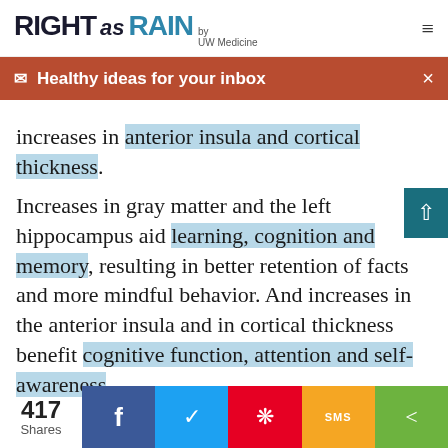RIGHT as RAIN by UW Medicine
Healthy ideas for your inbox
increases in anterior insula and cortical thickness.
Increases in gray matter and the left hippocampus aid learning, cognition and memory, resulting in better retention of facts and more mindful behavior. And increases in the anterior insula and in cortical thickness benefit cognitive function, attention and self-awareness.
417 Shares